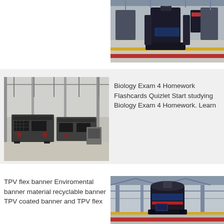[Figure (photo): Industrial machinery/equipment in a factory or warehouse setting, viewed from above-right angle. Yellow and red floor markings visible.]
[Figure (photo): Large industrial screening or conveyor machine equipment in a warehouse/factory interior. Gray industrial machinery on a concrete floor.]
Biology Exam 4 Homework Flashcards Quizlet Start studying Biology Exam 4 Homework. Learn
TPV flex banner Enviromental banner material recyclable banner TPV coated banner and TPV flex
[Figure (photo): Large industrial vertical press or tower equipment inside a factory with yellow and red floor markings, structural steel visible in background.]